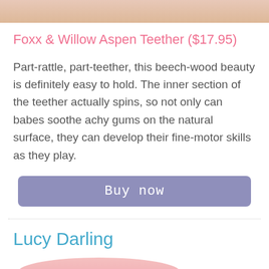[Figure (photo): Top portion of a baby product photo, showing a close-up of a baby's hand or skin in warm tones]
Foxx & Willow Aspen Teether ($17.95)
Part-rattle, part-teether, this beech-wood beauty is definitely easy to hold. The inner section of the teether actually spins, so not only can babes soothe achy gums on the natural surface, they can develop their fine-motor skills as they play.
Buy now
Lucy Darling
[Figure (photo): Bottom portion showing the top of a baby product photo with pink tones]